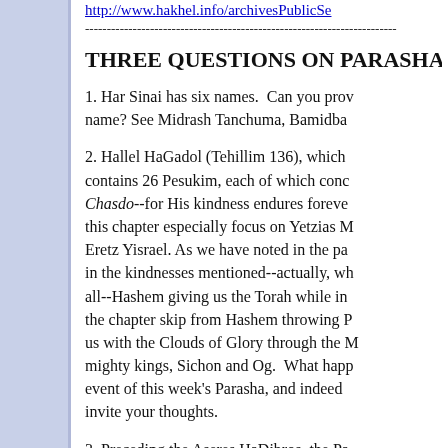http://www.hakhel.info/archivesPublicSe
--------------------------------------------------------------------------------
THREE QUESTIONS ON PARASHAS
1. Har Sinai has six names.  Can you provide a source for each name? See Midrash Tanchuma, Bamidba
2. Hallel HaGadol (Tehillim 136), which contains 26 Pesukim, each of which conc Chasdo--for His kindness endures foreve this chapter especially focus on Yetzias Eretz Yisrael. As we have noted in the pa in the kindnesses mentioned--actually, wh all--Hashem giving us the Torah while in the chapter skip from Hashem throwing P us with the Clouds of Glory through the M mighty kings, Sichon and Og.  What happ event of this week's Parasha, and indeed invite your thoughts.
3. Preceding the Aseres HaDibros, the Pa background: “Vavehi Kol HaShofar Hol